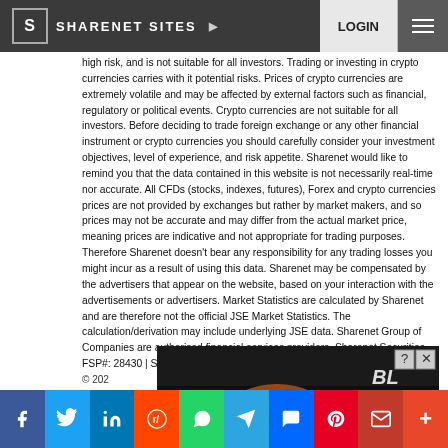SHARENET SITES ▶   LOGIN ☰
high risk, and is not suitable for all investors. Trading or investing in crypto currencies carries with it potential risks. Prices of crypto currencies are extremely volatile and may be affected by external factors such as financial, regulatory or political events. Crypto currencies are not suitable for all investors. Before deciding to trade foreign exchange or any other financial instrument or crypto currencies you should carefully consider your investment objectives, level of experience, and risk appetite. Sharenet would like to remind you that the data contained in this website is not necessarily real-time nor accurate. All CFDs (stocks, indexes, futures), Forex and crypto currencies prices are not provided by exchanges but rather by market makers, and so prices may not be accurate and may differ from the actual market price, meaning prices are indicative and not appropriate for trading purposes. Therefore Sharenet doesn't bear any responsibility for any trading losses you might incur as a result of using this data. Sharenet may be compensated by the advertisers that appear on the website, based on your interaction with the advertisements or advertisers. Market Statistics are calculated by Sharenet and are therefore not the official JSE Market Statistics. The calculation/derivation may include underlying JSE data. Sharenet Group of Companies are authorised financial services providers. Sharenet Securities FSP#: 28430 | Sharenet Wealth FSP#: 41688
[Figure (photo): Advertisement banner with dark background showing a glowing orb and 'BL' text overlay with close and help buttons]
© 202
Social sharing buttons: Facebook, Twitter, LinkedIn, Reddit, WhatsApp, Telegram, Messenger, Pinterest, Email, More